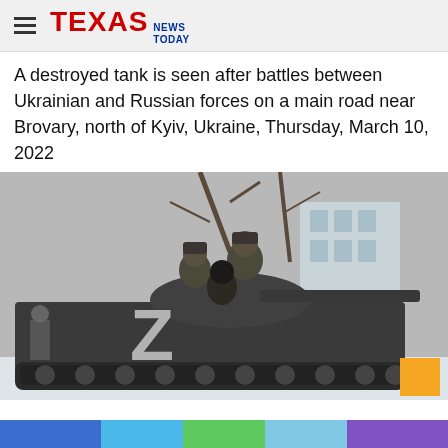TEXAS NEWS TODAY
A destroyed tank is seen after battles between Ukrainian and Russian forces on a main road near Brovary, north of Kyiv, Ukraine, Thursday, March 10, 2022
[Figure (photo): Soldiers riding on top of a military tank marked with a large white Z symbol, in a snowy urban environment. The tank is dark colored and the soldiers are wearing military uniforms and helmets. A civilian figure is visible on the left side.]